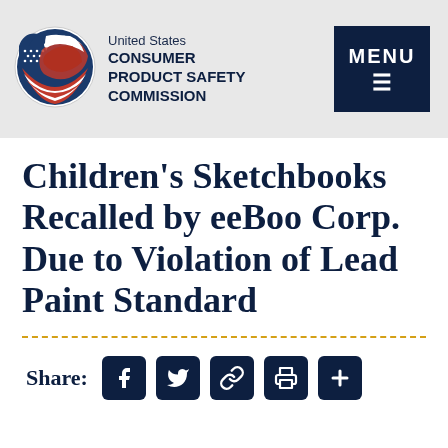[Figure (logo): CPSC circular logo with eagle and American flag motif]
United States CONSUMER PRODUCT SAFETY COMMISSION
[Figure (other): MENU button with hamburger icon on dark navy background]
Children's Sketchbooks Recalled by eeBoo Corp. Due to Violation of Lead Paint Standard
Share: